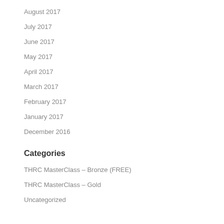August 2017
July 2017
June 2017
May 2017
April 2017
March 2017
February 2017
January 2017
December 2016
Categories
THRC MasterClass – Bronze (FREE)
THRC MasterClass – Gold
Uncategorized